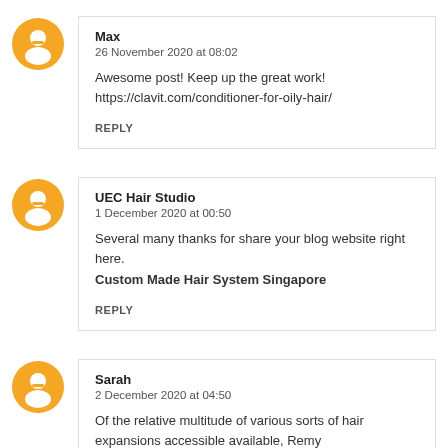Max
26 November 2020 at 08:02

Awesome post! Keep up the great work!
https://clavit.com/conditioner-for-oily-hair/

REPLY
UEC Hair Studio
1 December 2020 at 00:50

Several many thanks for share your blog website right here.
Custom Made Hair System Singapore

REPLY
Sarah
2 December 2020 at 04:50

Of the relative multitude of various sorts of hair expansions accessible available, Remy